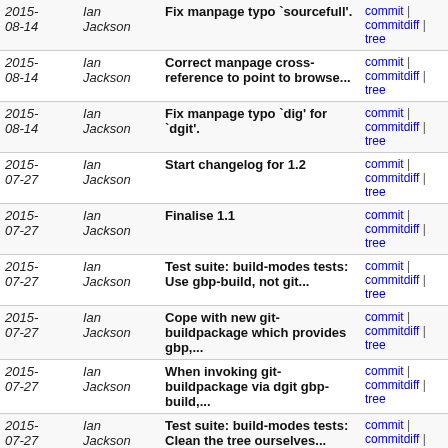| Date | Author | Message | Links |
| --- | --- | --- | --- |
| 2015-08-14 | Ian Jackson | Fix manpage typo `sourcefull'. | commit | commitdiff | tree |
| 2015-08-14 | Ian Jackson | Correct manpage cross-reference to point to browse... | commit | commitdiff | tree |
| 2015-08-14 | Ian Jackson | Fix manpage typo `dig' for `dgit'. | commit | commitdiff | tree |
| 2015-07-27 | Ian Jackson | Start changelog for 1.2 | commit | commitdiff | tree |
| 2015-07-27 | Ian Jackson | Finalise 1.1 | commit | commitdiff | tree |
| 2015-07-27 | Ian Jackson | Test suite: build-modes tests: Use gbp-build, not git... | commit | commitdiff | tree |
| 2015-07-27 | Ian Jackson | Cope with new git-buildpackage which provides gbp,... | commit | commitdiff | tree |
| 2015-07-27 | Ian Jackson | When invoking git-buildpackage via dgit gbp-build,... | commit | commitdiff | tree |
| 2015-07-27 | Ian Jackson | Test suite: build-modes tests: Clean the tree ourselves... | commit | commitdiff | tree |
| 2015-07-27 | Ian Jackson | When exec fails, always print the program name in the... | commit | commitdiff | tree |
| 2015-07-27 | Ian Jackson | Dgit.pm: Provide executable_on_path (avoids loading... | commit | commitdiff | tree |
| 2015-07-27 | Ian Jackson | Organise debian/changelog | commit | commitdiff | tree |
| 2015-07-27 | Ian Jackson | fixup! Test suite: Provide tests which check that | commit | commitdiff | tree |